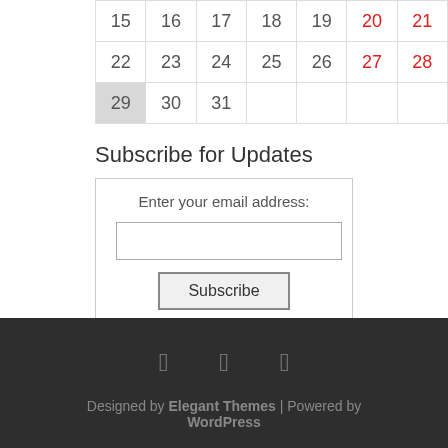| 15 | 16 | 17 | 18 | 19 | 20 | 21 |
| 22 | 23 | 24 | 25 | 26 | 27 | 28 |
| 29 | 30 | 31 |  |  |  |  |
Subscribe for Updates
Enter your email address:
Subscribe
Delivered by FeedBurner
Designed by Elegant Themes | Powered by WordPress